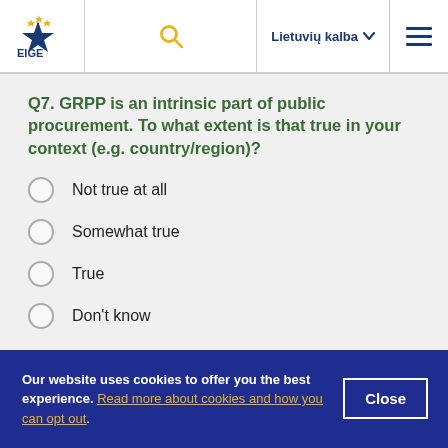EIGE — Lietuvių kalba
Q7. GRPP is an intrinsic part of public procurement. To what extent is that true in your context (e.g. country/region)?
Not true at all
Somewhat true
True
Don't know
Our website uses cookies to offer you the best experience. Read more about cookies and how you can opt out.